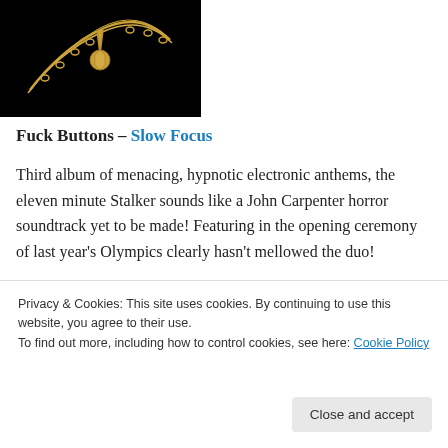[Figure (photo): Close-up photo of a gold necklace/pendant on a black background]
Fuck Buttons – Slow Focus
Third album of menacing, hypnotic electronic anthems, the eleven minute Stalker sounds like a John Carpenter horror soundtrack yet to be made! Featuring in the opening ceremony of last year's Olympics clearly hasn't mellowed the duo!
[Figure (photo): Photo of a red device/remote control with a dark control panel showing buttons and a pause icon]
Privacy & Cookies: This site uses cookies. By continuing to use this website, you agree to their use.
To find out more, including how to control cookies, see here: Cookie Policy